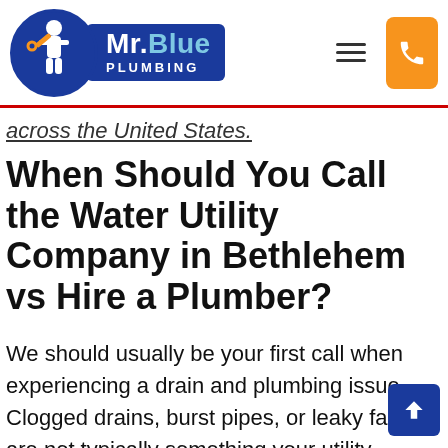[Figure (logo): Mr. Blue Plumbing logo with circular blue emblem showing a plumber figure, blue rectangular banner with 'Mr.Blue PLUMBING' text, hamburger menu icon, and orange phone button]
across the United States.
When Should You Call the Water Utility Company in Bethlehem vs Hire a Plumber?
We should usually be your first call when experiencing a drain and plumbing issue. Clogged drains, burst pipes, or leaky faucets are not typically something your utility provider assists homeowners with. The only